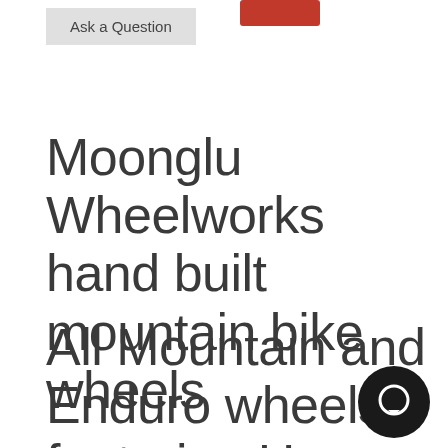Ask a Question
Moonglu Wheelworks hand built mountain bike wheels
All Mountain and Enduro wheels featuring Hope Pro 4 hubs and Santa Cruz Reserve 27